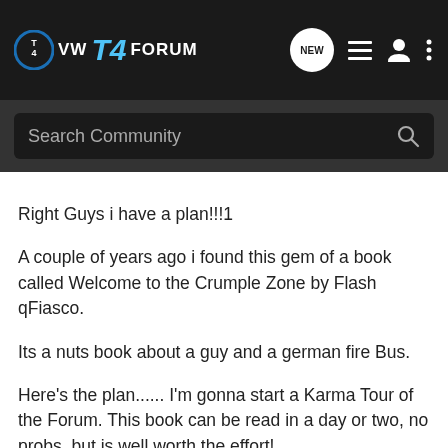VW T4 FORUM
Search Community
Right Guys i have a plan!!!1
A couple of years ago i found this gem of a book called Welcome to the Crumple Zone by Flash qFiasco.
Its a nuts book about a guy and a german fire Bus.
Here's the plan...... I'm gonna start a Karma Tour of the Forum. This book can be read in a day or two, no probs, but is well worth the effort!
So i will pay postage to the 1st person who wants it, who will then read it and add their name to the back page and send it